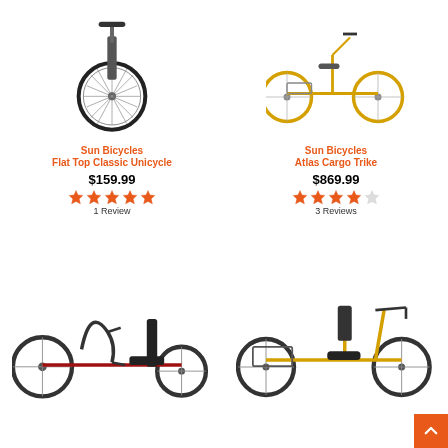[Figure (photo): Sun Bicycles Flat Top Classic Unicycle - front wheel visible, dark frame]
Sun Bicycles
Flat Top Classic Unicycle
$159.99
[Figure (other): 5 filled orange stars rating]
1 Review
[Figure (photo): Sun Bicycles Atlas Cargo Trike - yellow three-wheel cargo bicycle]
Sun Bicycles
Atlas Cargo Trike
$869.99
[Figure (other): 4 filled orange stars and 1 empty/light star rating]
3 Reviews
[Figure (photo): Red recumbent tricycle with low seat and curved handlebars]
[Figure (photo): Yellow adult tricycle with basket, backrest, and black frame details]